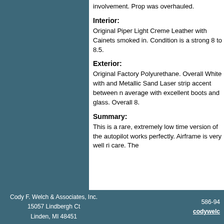involvement. Prop was overhauled.
Interior:
Original Piper Light Creme Leather with Cainets smoked in. Condition is a strong 8 to 8.5.
Exterior:
Original Factory Polyurethane. Overall White with and Metallic Sand Laser strip accent between n average with excellent boots and glass. Overall 8.
Summary:
This is a rare, extremely low time version of the autopilot works perfectly. Airframe is very well ri care. The
Cody F. Welch & Associates, Inc. 15057 Lindbergh Ct Linden, MI 48451     586-94 codywelc